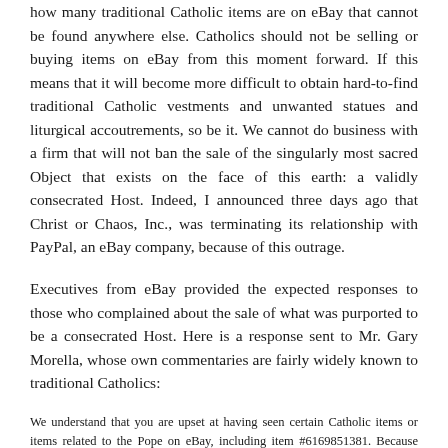how many traditional Catholic items are on eBay that cannot be found anywhere else. Catholics should not be selling or buying items on eBay from this moment forward. If this means that it will become more difficult to obtain hard-to-find traditional Catholic vestments and unwanted statues and liturgical accoutrements, so be it. We cannot do business with a firm that will not ban the sale of the singularly most sacred Object that exists on the face of this earth: a validly consecrated Host. Indeed, I announced three days ago that Christ or Chaos, Inc., was terminating its relationship with PayPal, an eBay company, because of this outrage.
Executives from eBay provided the expected responses to those who complained about the sale of what was purported to be a consecrated Host. Here is a response sent to Mr. Gary Morella, whose own commentaries are fairly widely known to traditional Catholics:
We understand that you are upset at having seen certain Catholic items or items related to the Pope on eBay, including item #6169851381. Because eBay's community is a diverse, international group of more than 135 million users with varied backgrounds and beliefs, there are times when some items listed